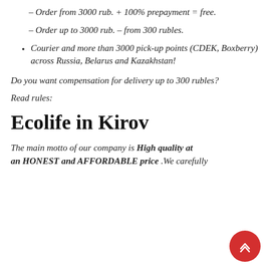– Order from 3000 rub. + 100% prepayment = free.
– Order up to 3000 rub. – from 300 rubles.
Courier and more than 3000 pick-up points (CDEK, Boxberry) across Russia, Belarus and Kazakhstan!
Do you want compensation for delivery up to 300 rubles?
Read rules:
Ecolife in Kirov
The main motto of our company is High quality at an HONEST and AFFORDABLE price .We carefully